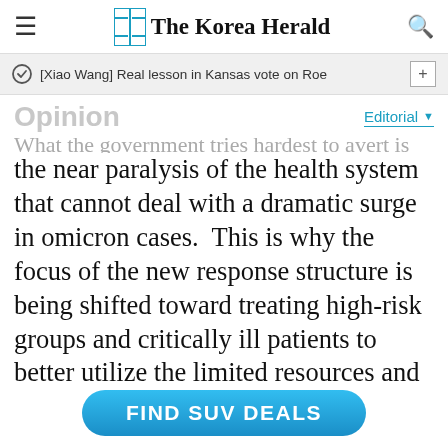The Korea Herald
[Xiao Wang] Real lesson in Kansas vote on Roe
Opinion
Editorial
What the government tries hardest to avert is the near paralysis of the health system that cannot deal with a dramatic surge in omicron cases. This is why the focus of the new response structure is being shifted toward treating high-risk groups and critically ill patients to better utilize the limited resources and personnel.
Such change is inevitable. But concerns a...
FIND SUV DEALS